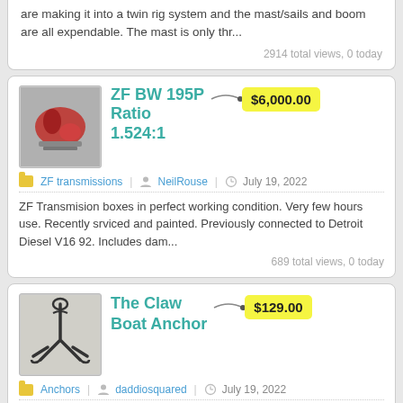are making it into a twin rig system and the mast/sails and boom are all expendable. The mast is only thr...
2914 total views, 0 today
ZF BW 195P Ratio 1.524:1
$6,000.00
ZF transmissions | NeilRouse | July 19, 2022
ZF Transmision boxes in perfect working condition. Very few hours use. Recently srviced and painted. Previously connected to Detroit Diesel V16 92. Includes dam...
689 total views, 0 today
The Claw Boat Anchor
$129.00
Anchors | daddiosquared | July 19, 2022